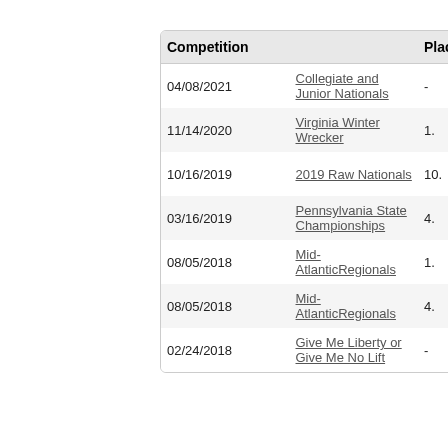| Competition |  | Placing | Division |  |
| --- | --- | --- | --- | --- |
| 04/08/2021 | Collegiate and Junior Nationals | - | R-C | -74 |
| 11/14/2020 | Virginia Winter Wrecker | 1. | R-JR | -74 |
| 10/16/2019 | 2019 Raw Nationals | 10. | R-JR | -74 |
| 03/16/2019 | Pennsylvania State Championships | 4. | R-O | -74 |
| 08/05/2018 | Mid-Atlantic Regionals | 1. | R-T3 | -74 |
| 08/05/2018 | Mid-Atlantic Regionals | 4. | R-O | -74 |
| 02/24/2018 | Give Me Liberty or Give Me No Lift | - | R-T3 | -74 |